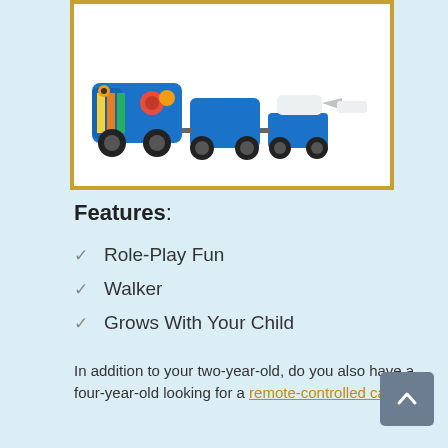[Figure (photo): Photo of a colorful blue toy train set with multiple cars including a locomotive with bright yellow and red decorations, additional car pieces, and a small white vehicle/plane, all with black rubber wheels, displayed on a white background inside a gold-bordered frame.]
Features:
Role-Play Fun
Walker
Grows With Your Child
In addition to your two-year-old, do you also have a four-year-old looking for a remote-controlled car?
Read More About
Uncategorized
best Vtech Toys for 2 toddlers, Vtech toddler toys